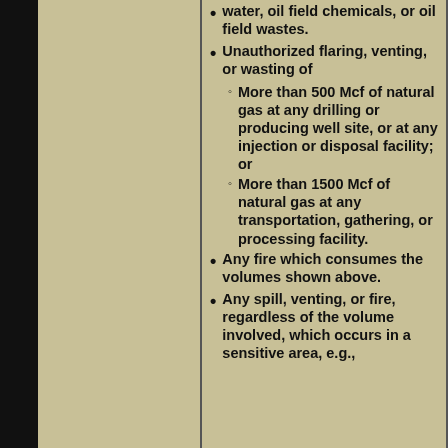water, oil field chemicals, or oil field wastes.
Unauthorized flaring, venting, or wasting of
More than 500 Mcf of natural gas at any drilling or producing well site, or at any injection or disposal facility; or
More than 1500 Mcf of natural gas at any transportation, gathering, or processing facility.
Any fire which consumes the volumes shown above.
Any spill, venting, or fire, regardless of the volume involved, which occurs in a sensitive area, e.g.,